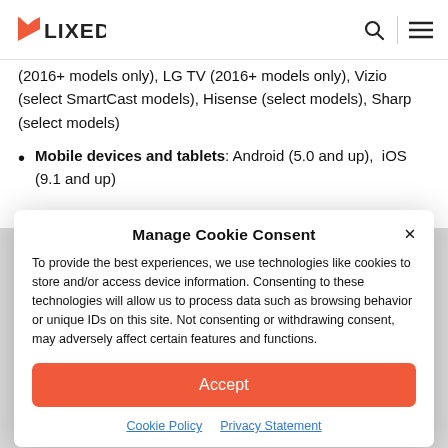FLIXED
(2016+ models only), LG TV (2016+ models only), Vizio (select SmartCast models), Hisense (select models), Sharp (select models)
Mobile devices and tablets: Android (5.0 and up), iOS (9.1 and up)
Manage Cookie Consent
To provide the best experiences, we use technologies like cookies to store and/or access device information. Consenting to these technologies will allow us to process data such as browsing behavior or unique IDs on this site. Not consenting or withdrawing consent, may adversely affect certain features and functions.
Accept
Cookie Policy   Privacy Statement